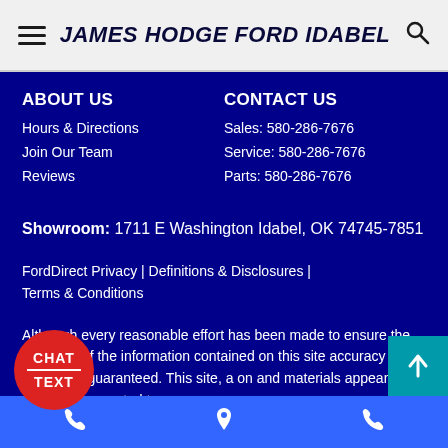JAMES HODGE FORD IDABEL
ABOUT US
Hours & Directions
Join Our Team
Reviews
CONTACT US
Sales: 580-286-7676
Service: 580-286-7676
Parts: 580-286-7676
Showroom: 1711 E Washington Idabel, OK 74745-7851
FordDirect Privacy | Definitions & Disclosures | Terms & Conditions
Although every reasonable effort has been made to ensure the accuracy of the information contained on this site accuracy cannot be guaranteed. This site, a on and materials appearing on it, are presented to